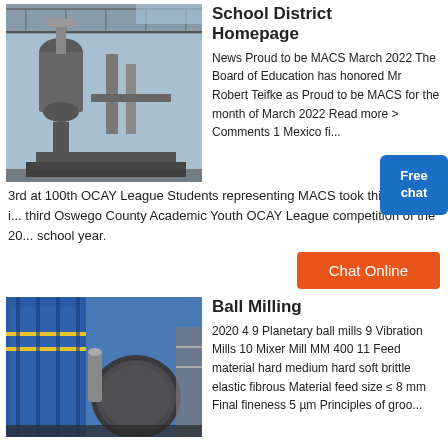[Figure (photo): Industrial milling machinery under a metal roof structure with cyclone dust collectors and conveyor equipment]
School District Homepage
News Proud to be MACS March 2022 The Board of Education has honored Mr Robert Teifke as Proud to be MACS for the month of March 2022 Read more > Comments 1 Mexico fi...
3rd at 100th OCAY League Students representing MACS took third place in the third Oswego County Academic Youth OCAY League competition of the 20... school year.
[Figure (screenshot): Free chat bubble widget — blue rounded rectangle with white text 'Free chat']
[Figure (other): Chat Online orange button]
[Figure (photo): Industrial ball milling equipment with large cylindrical mill, piping, and blue structural framework]
Ball Milling
2020 4 9 Planetary ball mills 9 Vibration Mills 10 Mixer Mill MM 400 11 Feed material hard medium hard soft brittle elastic fibrous Material feed size ≤ 8 mm Final fineness 5 µm Principles of groo...